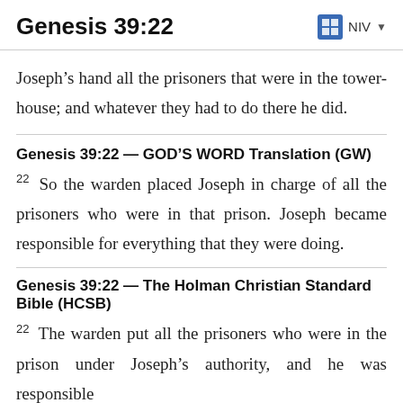Genesis 39:22
Joseph’s hand all the prisoners that were in the tower-house; and whatever they had to do there he did.
Genesis 39:22 — GOD’S WORD Translation (GW)
22 So the warden placed Joseph in charge of all the prisoners who were in that prison. Joseph became responsible for everything that they were doing.
Genesis 39:22 — The Holman Christian Standard Bible (HCSB)
22 The warden put all the prisoners who were in the prison under Joseph’s authority, and he was responsible